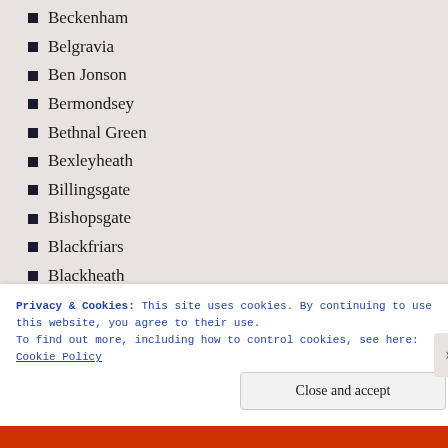Beckenham
Belgravia
Ben Jonson
Bermondsey
Bethnal Green
Bexleyheath
Billingsgate
Bishopsgate
Blackfriars
Blackheath
Blitz
Bloomsbury
Blue Plaques
Bonfire Night
Privacy & Cookies: This site uses cookies. By continuing to use this website, you agree to their use.
To find out more, including how to control cookies, see here: Cookie Policy
Close and accept